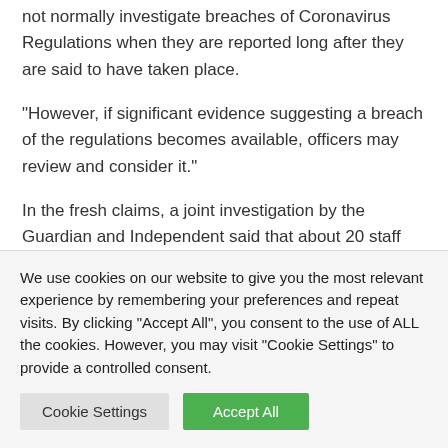not normally investigate breaches of Coronavirus Regulations when they are reported long after they are said to have taken place.
“However, if significant evidence suggesting a breach of the regulations becomes available, officers may review and consider it.”
In the fresh claims, a joint investigation by the Guardian and Independent said that about 20 staff drank wine and spirits
We use cookies on our website to give you the most relevant experience by remembering your preferences and repeat visits. By clicking “Accept All”, you consent to the use of ALL the cookies. However, you may visit “Cookie Settings” to provide a controlled consent.